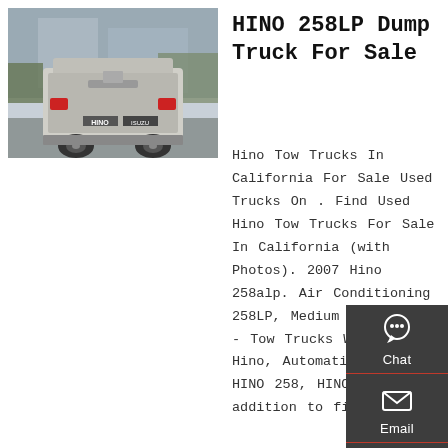[Figure (photo): Rear view of a HINO truck (dump/tow truck) photographed in a parking area, showing the back of the vehicle with HINO and ISUZU logos visible.]
HINO 258LP Dump Truck For Sale
Hino Tow Trucks In California For Sale Used Trucks On . Find Used Hino Tow Trucks For Sale In California (with Photos). 2007 Hino 258alp. Air Conditioning 258LP, Medium Duty Trucks - Tow Trucks Wrecker, Hino, Automatic, 2007 HINO 258, HINO 6 CYL. In addition to fitting